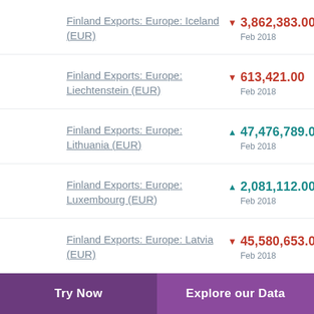Finland Exports: Europe: Iceland (EUR) ▼ 3,862,383.00 Feb 2018
Finland Exports: Europe: Liechtenstein (EUR) ▼ 613,421.00 Feb 2018
Finland Exports: Europe: Lithuania (EUR) ▲ 47,476,789.00 Feb 2018
Finland Exports: Europe: Luxembourg (EUR) ▲ 2,081,112.00 Feb 2018
Finland Exports: Europe: Latvia (EUR) ▼ 45,580,653.00 Feb 2018
Try Now   Explore our Data